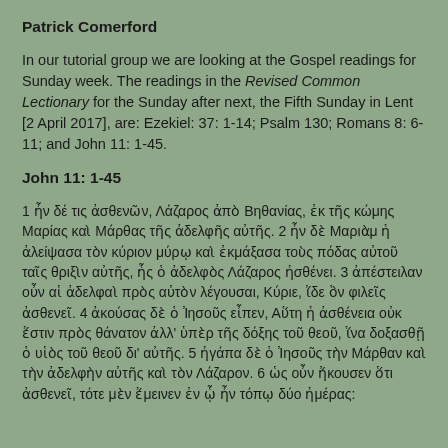Patrick Comerford
In our tutorial group we are looking at the Gospel readings for Sunday week. The readings in the Revised Common Lectionary for the Sunday after next, the Fifth Sunday in Lent [2 April 2017], are: Ezekiel: 37: 1-14; Psalm 130; Romans 8: 6-11; and John 11: 1-45.
John 11: 1-45
1 ἦν δέ τις ἀσθενῶν, Λάζαρος ἀπὸ Βηθανίας, ἐκ τῆς κώμης Μαρίας καὶ Μάρθας τῆς ἀδελφῆς αὐτῆς. 2 ἦν δὲ Μαριὰμ ἡ ἀλείψασα τὸν κύριον μύρῳ καὶ ἐκμάξασα τοὺς πόδας αὐτοῦ ταῖς θριξὶν αὐτῆς, ἧς ὁ ἀδελφὸς Λάζαρος ἠσθένει. 3 ἀπέστειλαν οὖν αἱ ἀδελφαὶ πρὸς αὐτὸν λέγουσαι, Κύριε, ἴδε ὃν φιλεῖς ἀσθενεῖ. 4 ἀκούσας δὲ ὁ Ἰησοῦς εἶπεν, Αὕτη ἡ ἀσθένεια οὐκ ἔστιν πρὸς θάνατον ἀλλ' ὑπὲρ τῆς δόξης τοῦ θεοῦ, ἵνα δοξασθῇ ὁ υἱὸς τοῦ θεοῦ δι' αὐτῆς. 5 ἠγάπα δὲ ὁ Ἰησοῦς τὴν Μάρθαν καὶ τὴν ἀδελφὴν αὐτῆς καὶ τὸν Λάζαρον. 6 ὡς οὖν ἤκουσεν ὅτι ἀσθενεῖ, τότε μὲν ἔμεινεν ἐν ᾧ ἦν τόπῳ δύο ἡμέρας: